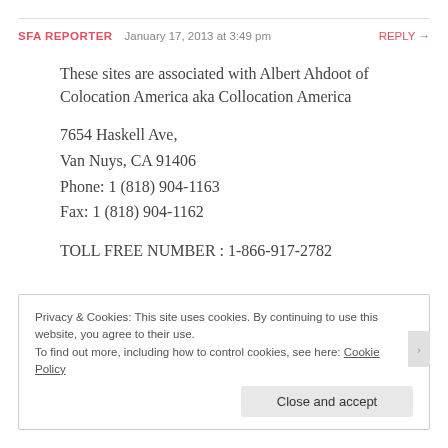SFA REPORTER   January 17, 2013 at 3:49 pm   REPLY →
These sites are associated with Albert Ahdoot of Colocation America aka Collocation America
7654 Haskell Ave,
Van Nuys, CA 91406
Phone: 1 (818) 904-1163
Fax: 1 (818) 904-1162
TOLL FREE NUMBER : 1-866-917-2782
Privacy & Cookies: This site uses cookies. By continuing to use this website, you agree to their use.
To find out more, including how to control cookies, see here: Cookie Policy
Close and accept